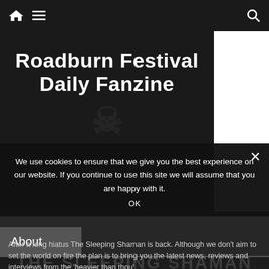Navigation bar with home icon, menu icon, and search icon
[Figure (screenshot): Roadburn Festival Daily Fanzine banner with dark background and 'download now' button]
Roadburn Festival Daily Fanzine
download now
About
[Figure (screenshot): THE SLEEPING SHAMAN watermark text in large distressed font]
We use cookies to ensure that we give you the best experience on our website. If you continue to use this site we will assume that you are happy with it.
OK
After a long hiatus The Sleeping Shaman is back. Although we don't aim to set the world on fire the plan is to bring you the latest news, reviews and interviews from the 'heavier than thou'